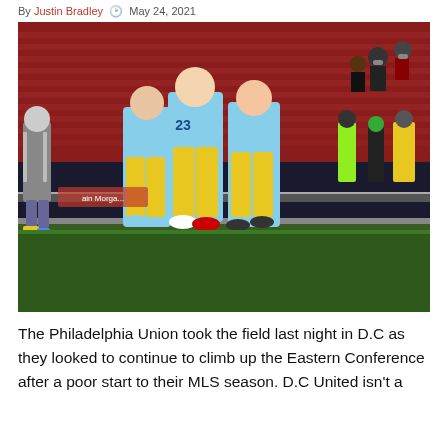By Justin Bradley · May 24, 2021
[Figure (photo): Philadelphia Union players in light blue and yellow jerseys celebrating on the field near the sideline at a D.C. United stadium with spectators and staff in background.]
The Philadelphia Union took the field last night in D.C as they looked to continue to climb up the Eastern Conference after a poor start to their MLS season. D.C United isn't a great team with a record of too wins and four draws, but